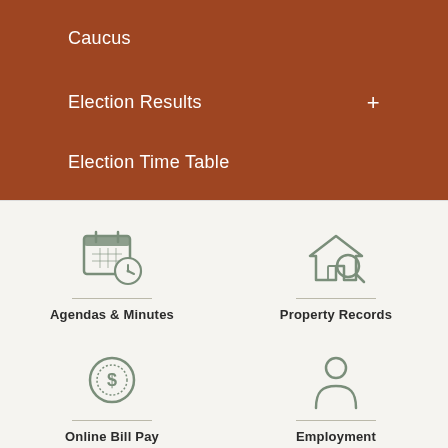Caucus
Election Results
Election Time Table
[Figure (infographic): Navigation icon grid with four items: Agendas & Minutes (calendar/clock icon), Property Records (house with magnifying glass icon), Online Bill Pay (dollar sign circle icon), Employment (person silhouette icon)]
Agendas & Minutes
Property Records
Online Bill Pay
Employment